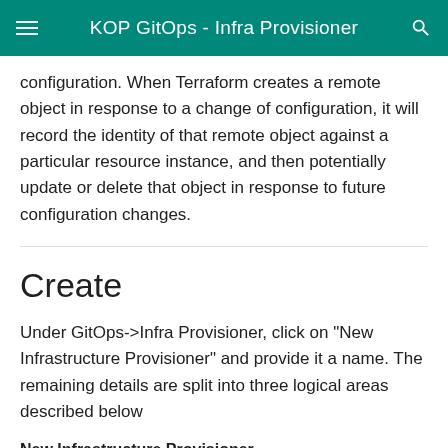KOP GitOps - Infra Provisioner
configuration. When Terraform creates a remote object in response to a change of configuration, it will record the identity of that remote object against a particular resource instance, and then potentially update or delete that object in response to future configuration changes.
Create
Under GitOps->Infra Provisioner, click on "New Infrastructure Provisioner" and provide it a name. The remaining details are split into three logical areas described below
New Infrastructure Provisioner